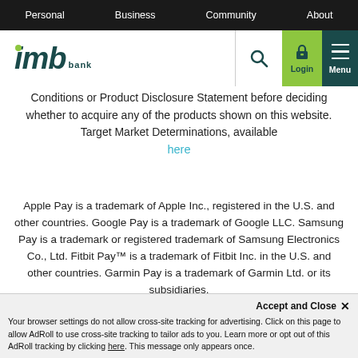Personal  Business  Community  About
[Figure (logo): IMB Bank logo with green dot above 'i', dark teal letters 'imb' in italic bold, with 'bank' in small caps beside it]
Conditions or Product Disclosure Statement before deciding whether to acquire any of the products shown on this website. Target Market Determinations, available here
Apple Pay is a trademark of Apple Inc., registered in the U.S. and other countries. Google Pay is a trademark of Google LLC. Samsung Pay is a trademark or registered trademark of Samsung Electronics Co., Ltd. Fitbit Pay™ is a trademark of Fitbit Inc. in the U.S. and other countries. Garmin Pay is a trademark of Garmin Ltd. or its subsidiaries.
Accept and Close ✕
Your browser settings do not allow cross-site tracking for advertising. Click on this page to allow AdRoll to use cross-site tracking to tailor ads to you. Learn more or opt out of this AdRoll tracking by clicking here. This message only appears once.